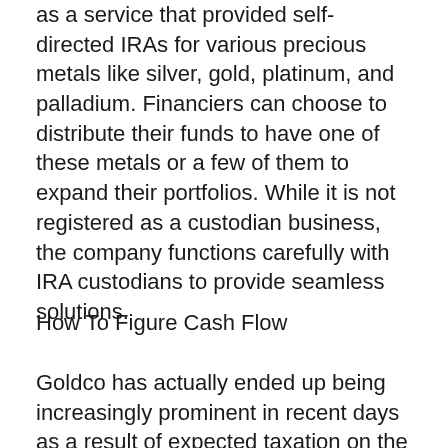as a service that provided self-directed IRAs for various precious metals like silver, gold, platinum, and palladium. Financiers can choose to distribute their funds to have one of these metals or a few of them to expand their portfolios. While it is not registered as a custodian business, the company functions carefully with IRA custodians to provide seamless solutions.
How To Figure Cash Flow
Goldco has actually ended up being increasingly prominent in recent days as a result of expected taxation on the horizon as capitalists look for tax-friendly ways to secure their riches. Even more people are